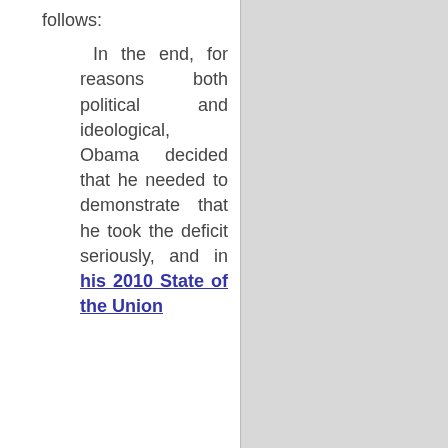follows:
In the end, for reasons both political and ideological, Obama decided that he needed to demonstrate that he took the deficit seriously, and in his 2010 State of the Union